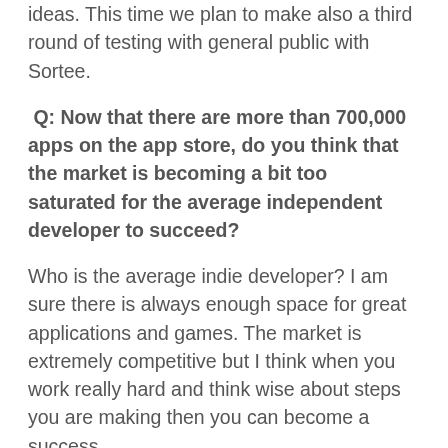ideas. This time we plan to make also a third round of testing with general public with Sortee.
Q: Now that there are more than 700,000 apps on the app store, do you think that the market is becoming a bit too saturated for the average independent developer to succeed?
Who is the average indie developer? I am sure there is always enough space for great applications and games. The market is extremely competitive but I think when you work really hard and think wise about steps you are making then you can become a success.